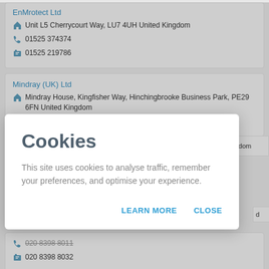EnMrotect Ltd
Unit L5 Cherrycourt Way, LU7 4UH United Kingdom
01525 374374
01525 219786
Mindray (UK) Ltd
Mindray House, Kingfisher Way, Hinchingbrooke Business Park, PE29 6FN United Kingdom
01480 416840
Cookies
This site uses cookies to analyse traffic, remember your preferences, and optimise your experience.
LEARN MORE    CLOSE
020 8398 8032